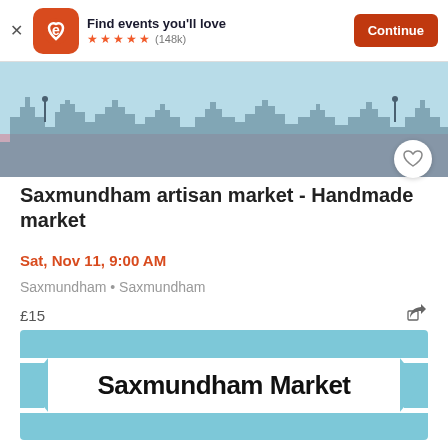Find events you'll love ★★★★★ (148k) Continue
[Figure (illustration): Eventbrite app promotional banner with logo, star rating (148k reviews), and Continue button]
[Figure (illustration): Event banner image showing a stylized city skyline in light blue and mauve tones]
Saxmundham artisan market - Handmade market
Sat, Nov 11, 9:00 AM
Saxmundham • Saxmundham
£15
[Figure (illustration): Saxmundham Market ribbon banner on light blue background with bold black text reading 'Saxmundham Market']